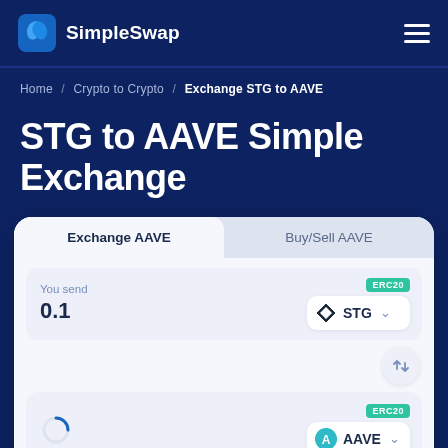SimpleSwap
Home / Crypto to Crypto / Exchange STG to AAVE
STG to AAVE Simple Exchange
Exchange AAVE | Buy/Sell AAVE
You send
0.1
ERC20 STG
ERC20 AAVE